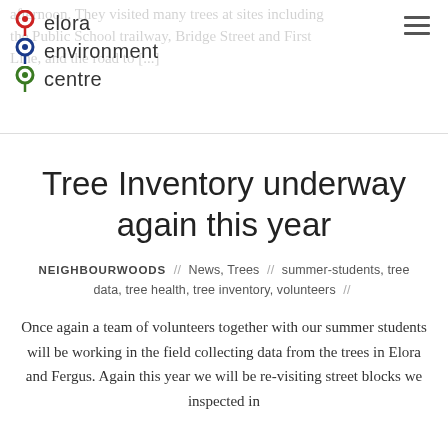[Figure (logo): Elora Environment Centre logo with three colored map pin icons (red, blue, green) and text 'elora environment centre']
afternoon. They visited many trees at sites including the Public School trailway, Bridge Street and First Line, and the road to [...]
Tree Inventory underway again this year
NEIGHBOURWOODS // News, Trees // summer-students, tree data, tree health, tree inventory, volunteers //
Once again a team of volunteers together with our summer students will be working in the field collecting data from the trees in Elora and Fergus. Again this year we will be re-visiting street blocks we inspected in